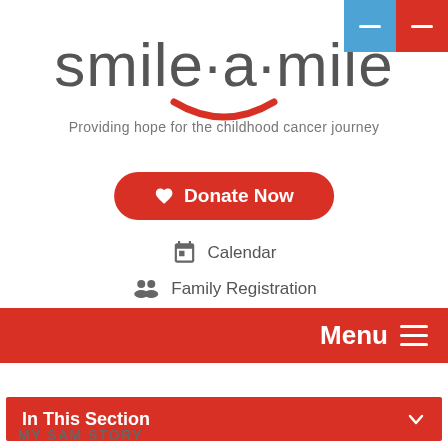[Figure (logo): Smile-a-Mile logo with red smile arc and tagline 'Providing hope for the childhood cancer journey']
Donate Now
Calendar
Family Registration
Menu
In This Section
MY SAM STORY